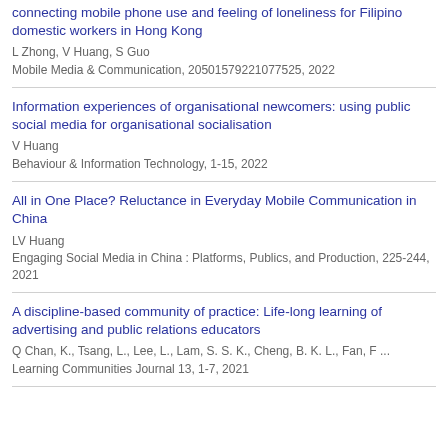connecting mobile phone use and feeling of loneliness for Filipino domestic workers in Hong Kong
L Zhong, V Huang, S Guo
Mobile Media & Communication, 20501579221077525, 2022
Information experiences of organisational newcomers: using public social media for organisational socialisation
V Huang
Behaviour & Information Technology, 1-15, 2022
All in One Place? Reluctance in Everyday Mobile Communication in China
LV Huang
Engaging Social Media in China : Platforms, Publics, and Production, 225-244, 2021
A discipline-based community of practice: Life-long learning of advertising and public relations educators
Q Chan, K., Tsang, L., Lee, L., Lam, S. S. K., Cheng, B. K. L., Fan, F ...
Learning Communities Journal 13, 1-7, 2021